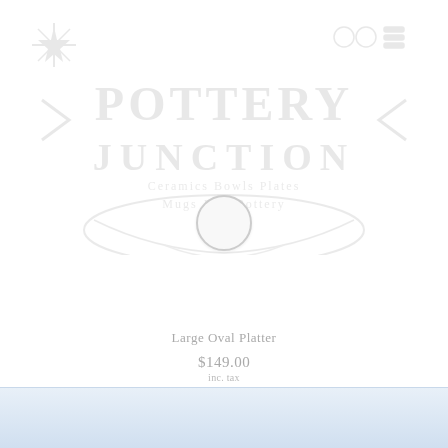[Figure (logo): Pottery Junction logo — large text reading POTTERY JUNCTION with decorative pottery bowl graphic, subtitle text 'Ceramics Bowls Plates Mugs Jugs Pottery']
[Figure (other): Loading spinner circle — white circle with gray border indicating page loading state]
Large Oval Platter
$149.00
inc. tax